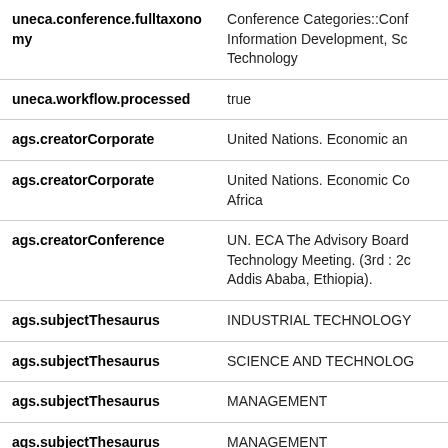| Field | Value |
| --- | --- |
| uneca.conference.fulltaxonomy | Conference Categories::Conf... Information Development, Sc... Technology |
| uneca.workflow.processed | true |
| ags.creatorCorporate | United Nations. Economic an... |
| ags.creatorCorporate | United Nations. Economic Co... Africa |
| ags.creatorConference | UN. ECA The Advisory Board... Technology Meeting. (3rd : 20... Addis Ababa, Ethiopia). |
| ags.subjectThesaurus | INDUSTRIAL TECHNOLOGY... |
| ags.subjectThesaurus | SCIENCE AND TECHNOLOG... |
| ags.subjectThesaurus | MANAGEMENT |
| ags.subjectThesaurus | MANAGEMENT |
| ags.subjectThesaurus | INDUSTRY... |